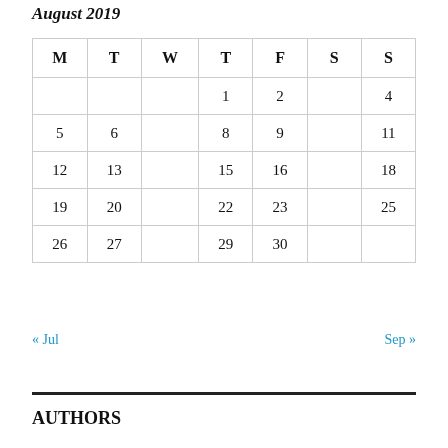August 2019
| M | T | W | T | F | S | S |
| --- | --- | --- | --- | --- | --- | --- |
|  |  |  | 1 | 2 | 3 | 4 |
| 5 | 6 | 7 | 8 | 9 | 10 | 11 |
| 12 | 13 | 14 | 15 | 16 | 17 | 18 |
| 19 | 20 | 21 | 22 | 23 | 24 | 25 |
| 26 | 27 | 28 | 29 | 30 | 31 |  |
« Jul    Sep »
AUTHORS